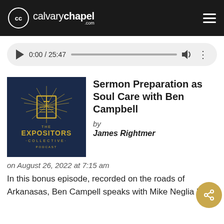calvarychapel.com
[Figure (screenshot): Audio player showing 0:00 / 25:47 with play button, progress bar, volume icon, and more options icon]
[Figure (illustration): The Expositors Collective Podcast logo — dark navy background with gold open Bible and radiating lines]
Sermon Preparation as Soul Care with Ben Campbell
by
James Rightmer
on August 26, 2022 at 7:15 am
In this bonus episode, recorded on the roads of Arkanasas, Ben Campell speaks with Mike Neglia [...]